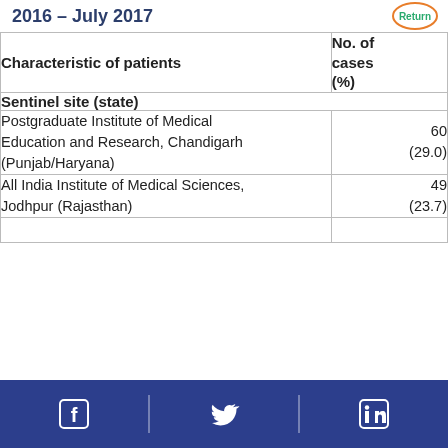2016 – July 2017
| Characteristic of patients | No. of cases (%) |
| --- | --- |
| Sentinel site (state) |  |
| Postgraduate Institute of Medical Education and Research, Chandigarh (Punjab/Haryana) | 60 (29.0) |
| All India Institute of Medical Sciences, Jodhpur (Rajasthan) | 49 (23.7) |
|  |  |
Social media links: Facebook, Twitter, LinkedIn